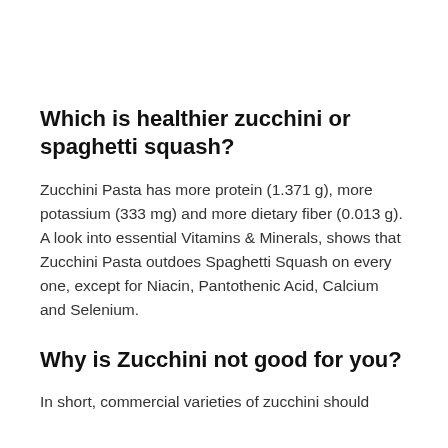Which is healthier zucchini or spaghetti squash?
Zucchini Pasta has more protein (1.371 g), more potassium (333 mg) and more dietary fiber (0.013 g). A look into essential Vitamins & Minerals, shows that Zucchini Pasta outdoes Spaghetti Squash on every one, except for Niacin, Pantothenic Acid, Calcium and Selenium.
Why is Zucchini not good for you?
In short, commercial varieties of zucchini should